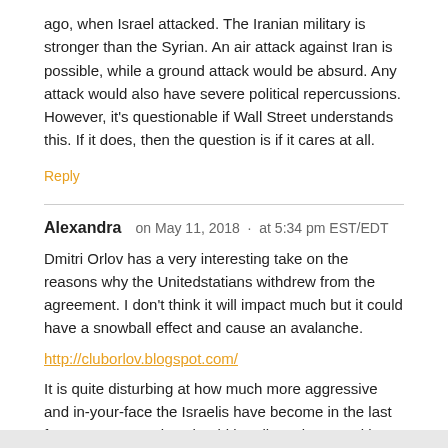ago, when Israel attacked. The Iranian military is stronger than the Syrian. An air attack against Iran is possible, while a ground attack would be absurd. Any attack would also have severe political repercussions. However, it's questionable if Wall Street understands this. If it does, then the question is if it cares at all.
Reply
Alexandra  on May 11, 2018 · at 5:34 pm EST/EDT
Dmitri Orlov has a very interesting take on the reasons why the Unitedstatians withdrew from the agreement. I don't think it will impact much but it could have a snowball effect and cause an avalanche.
http://cluborlov.blogspot.com/
It is quite disturbing at how much more aggressive and in-your-face the Israelis have become in the last few years. No nation should be allowed to act with such impunity!
Reply